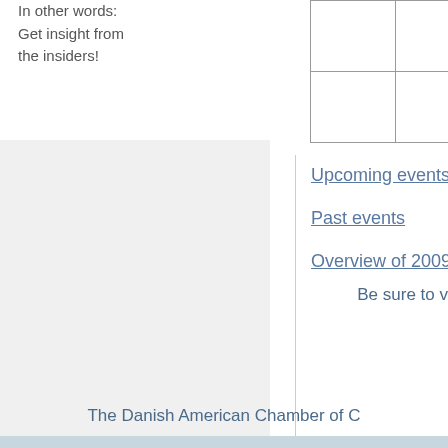In other words: Get insight from the insiders!
|  |  |
|  |  |
Upcoming events
Past events
Overview of 2009
Be sure to v
The Danish American Chamber of C